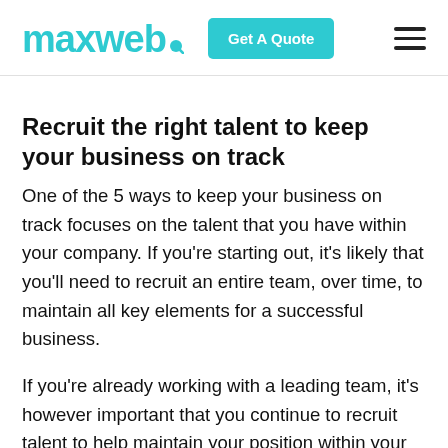maxweb | Get A Quote | menu
Recruit the right talent to keep your business on track
One of the 5 ways to keep your business on track focuses on the talent that you have within your company. If you're starting out, it's likely that you'll need to recruit an entire team, over time, to maintain all key elements for a successful business.
If you're already working with a leading team, it's however important that you continue to recruit talent to help maintain your position within your